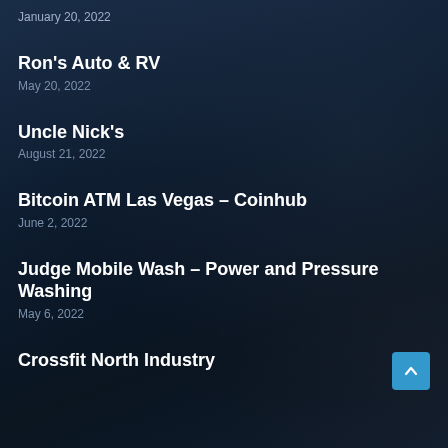January 20, 2022
Ron's Auto & RV
May 20, 2022
Uncle Nick's
August 21, 2022
Bitcoin ATM Las Vegas – Coinhub
June 2, 2022
Judge Mobile Wash – Power and Pressure Washing
May 6, 2022
Crossfit North Industry